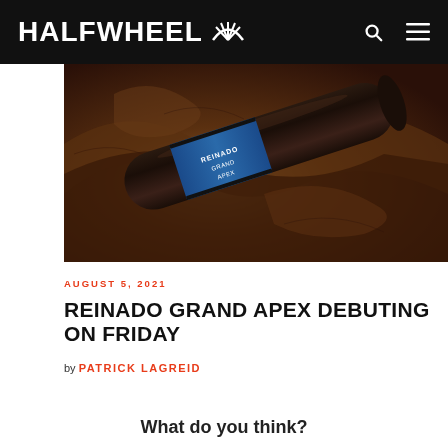HALFWHEEL
[Figure (photo): Close-up photo of a dark cigar with a blue band labeled 'Grand Apex', resting on brown tobacco leaves]
AUGUST 5, 2021
REINADO GRAND APEX DEBUTING ON FRIDAY
by PATRICK LAGREID
What do you think?